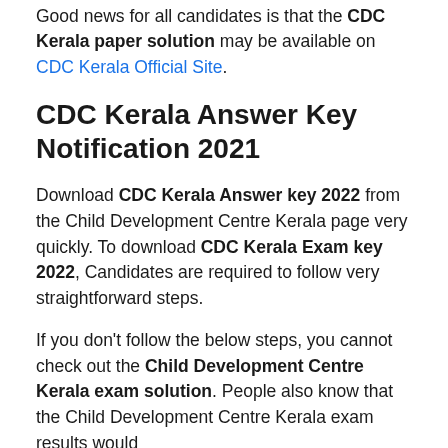Good news for all candidates is that the CDC Kerala paper solution may be available on CDC Kerala Official Site.
CDC Kerala Answer Key Notification 2021
Download CDC Kerala Answer key 2022 from the Child Development Centre Kerala page very quickly. To download CDC Kerala Exam key 2022, Candidates are required to follow very straightforward steps.
If you don't follow the below steps, you cannot check out the Child Development Centre Kerala exam solution. People also know that the Child Development Centre Kerala exam results would